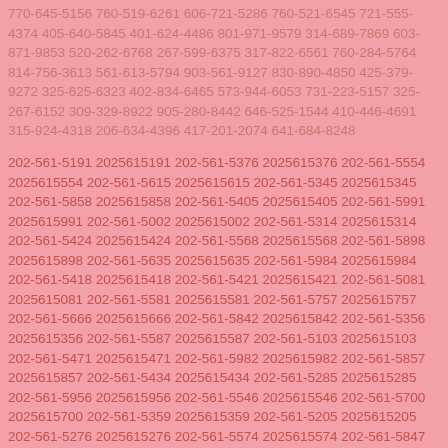770-645-5156 760-519-6261 606-721-5286 760-521-6545 721-555-4374 405-640-5845 401-624-4486 801-971-9579 314-689-7869 603-871-9853 520-262-6768 267-599-6375 317-822-6561 760-284-5764 814-756-3613 561-613-5794 903-561-9127 830-890-4850 425-379-9272 325-625-6323 402-834-6465 573-944-6053 731-223-5157 325-267-6152 309-329-8922 905-280-8442 646-525-1544 410-446-4691 315-924-4318 206-634-4396 417-201-2074 641-684-8248
202-561-5191 2025615191 202-561-5376 2025615376 202-561-5554 2025615554 202-561-5615 2025615615 202-561-5345 2025615345 202-561-5858 2025615858 202-561-5405 2025615405 202-561-5991 2025615991 202-561-5002 2025615002 202-561-5314 2025615314 202-561-5424 2025615424 202-561-5568 2025615568 202-561-5898 2025615898 202-561-5635 2025615635 202-561-5984 2025615984 202-561-5418 2025615418 202-561-5421 2025615421 202-561-5081 2025615081 202-561-5581 2025615581 202-561-5757 2025615757 202-561-5666 2025615666 202-561-5842 2025615842 202-561-5356 2025615356 202-561-5587 2025615587 202-561-5103 2025615103 202-561-5471 2025615471 202-561-5982 2025615982 202-561-5857 2025615857 202-561-5434 2025615434 202-561-5285 2025615285 202-561-5956 2025615956 202-561-5546 2025615546 202-561-5700 2025615700 202-561-5359 2025615359 202-561-5205 2025615205 202-561-5276 2025615276 202-561-5574 2025615574 202-561-5847 2025615847 202-561-5269 2025615269 202-561-5464 2025615464 202-561-5838 2025615838 202-561-5059 2025615059